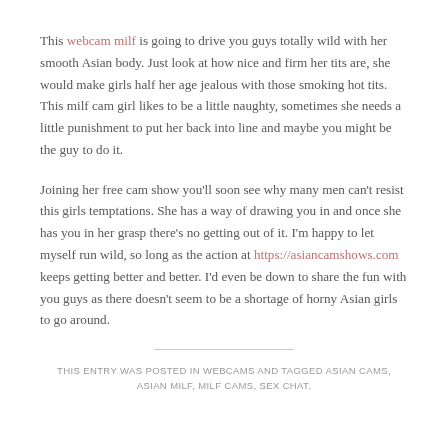This webcam milf is going to drive you guys totally wild with her smooth Asian body. Just look at how nice and firm her tits are, she would make girls half her age jealous with those smoking hot tits. This milf cam girl likes to be a little naughty, sometimes she needs a little punishment to put her back into line and maybe you might be the guy to do it.
Joining her free cam show you'll soon see why many men can't resist this girls temptations. She has a way of drawing you in and once she has you in her grasp there's no getting out of it. I'm happy to let myself run wild, so long as the action at https://asiancamshows.com keeps getting better and better. I'd even be down to share the fun with you guys as there doesn't seem to be a shortage of horny Asian girls to go around.
THIS ENTRY WAS POSTED IN WEBCAMS AND TAGGED ASIAN CAMS, ASIAN MILF, MILF CAMS, SEX CHAT.